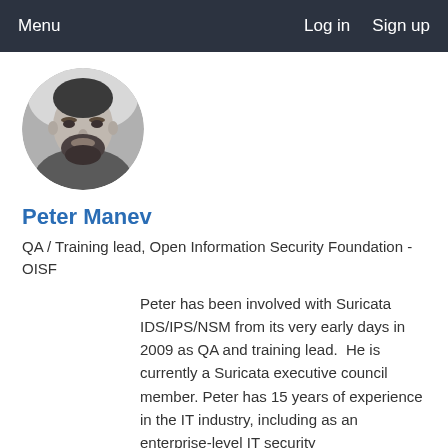Menu   Log in   Sign up
[Figure (photo): Black and white circular profile photo of Peter Manev, a man with a beard]
Peter Manev
QA / Training lead, Open Information Security Foundation - OISF
Peter has been involved with Suricata IDS/IPS/NSM from its very early days in 2009 as QA and training lead.  He is currently a Suricata executive council member. Peter has 15 years of experience in the IT industry, including as an enterprise-level IT security practitioner.SELKS maintainer... Read More...